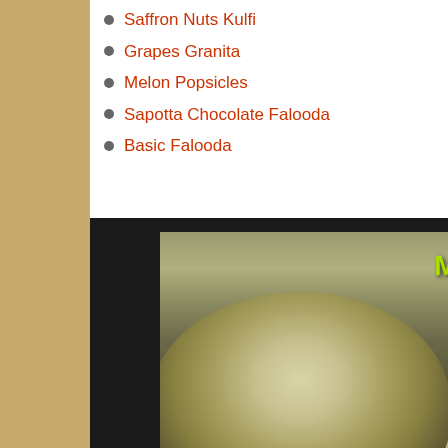Saffron Nuts Kulfi
Grapes Granita
Melon Popsicles
Sapotta Chocolate Falooda
Basic Falooda
[Figure (photo): Close-up photo of mint ice cream scoops in a glass bowl, garnished with fresh mint leaves. Text 'Mint Ic...' in bright yellow-green cursive font overlays the upper right. A white cup is visible in the background. Watermark reads www.madraam... at lower center.]